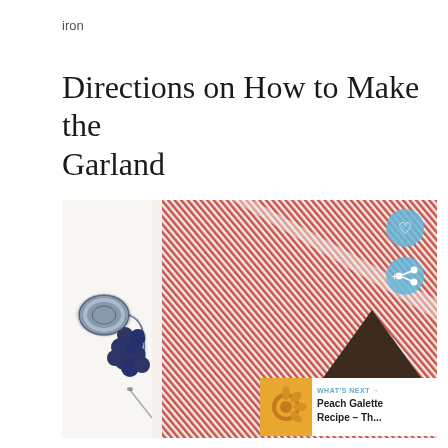iron
Directions on How to Make the Garland
[Figure (photo): DIY garland materials laid on white surface: red and white striped fabric pieces folded into pennant shapes, dark brown leather triangle pennant with rivets, navy blue pom poms, black and white baker's twine, and a needle. Overlay icons: heart button and share button (light blue circles). Bottom right corner shows a 'What's Next' card with a thumbnail of a Peach Galette and text 'Peach Galette Recipe – Th...']